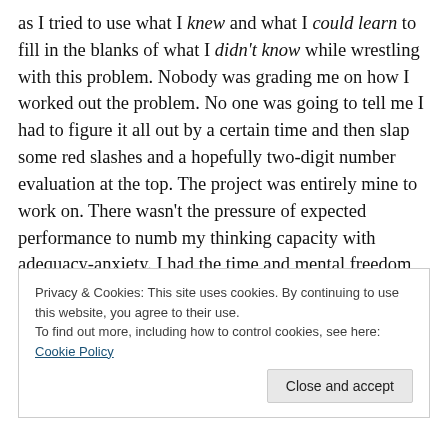as I tried to use what I knew and what I could learn to fill in the blanks of what I didn't know while wrestling with this problem. Nobody was grading me on how I worked out the problem. No one was going to tell me I had to figure it all out by a certain time and then slap some red slashes and a hopefully two-digit number evaluation at the top. The project was entirely mine to work on. There wasn't the pressure of expected performance to numb my thinking capacity with adequacy-anxiety. I had the time and mental freedom to think and rethink and unthink and think again without anyone telling me I wasn't doing it well enough.
Privacy & Cookies: This site uses cookies. By continuing to use this website, you agree to their use.
To find out more, including how to control cookies, see here: Cookie Policy